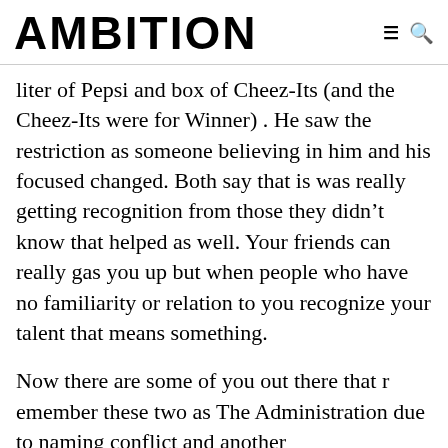AMBITION
liter of Pepsi and box of Cheez-Its (and the Cheez-Its were for Winner) . He saw the restriction as someone believing in him and his focused changed. Both say that is was really getting recognition from those they didn’t know that helped as well. Your friends can really gas you up but when people who have no familiarity or relation to you recognize your talent that means something.
Now there are some of you out there that remember these two as The Administration due to naming conflict and another